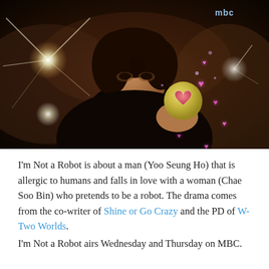[Figure (photo): A man (Yoo Seung Ho) holding a cup with a heart design, surrounded by pink heart overlays and lens flare lights. MBC logo visible in top right corner.]
I'm Not a Robot is about a man (Yoo Seung Ho) that is allergic to humans and falls in love with a woman (Chae Soo Bin) who pretends to be a robot. The drama comes from the co-writer of Shine or Go Crazy and the PD of W-Two Worlds.
I'm Not a Robot airs Wednesday and Thursday on MBC.